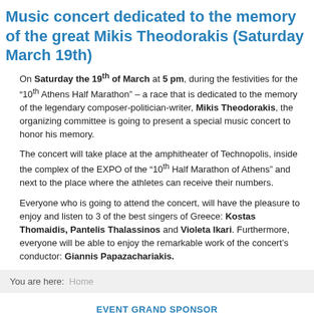Music concert dedicated to the memory of the great Mikis Theodorakis (Saturday March 19th)
On Saturday the 19th of March at 5 pm, during the festivities for the “10th Athens Half Marathon” – a race that is dedicated to the memory of the legendary composer-politician-writer, Mikis Theodorakis, the organizing committee is going to present a special music concert to honor his memory.
The concert will take place at the amphitheater of Technopolis, inside the complex of the EXPO of the “10th Half Marathon of Athens” and next to the place where the athletes can receive their numbers.
Everyone who is going to attend the concert, will have the pleasure to enjoy and listen to 3 of the best singers of Greece: Kostas Thomaidis, Pantelis Thalassinos and Violeta Ikari. Furthermore, everyone will be able to enjoy the remarkable work of the concert’s conductor: Giannis Papazachariakis.
You are here:  Home
EVENT GRAND SPONSOR